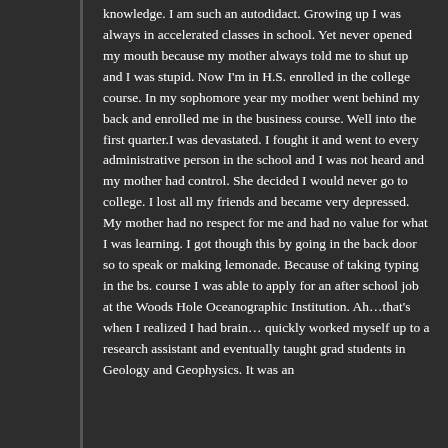knowledge. I am such an autodidact. Growing up I was always in accelerated classes in school. Yet never opened my mouth because my mother always told me to shut up and I was stupid. Now I'm in H.S. enrolled in the college course. In my sophomore year my mother went behind my back and enrolled me in the business course. Well into the first quarter.I was devastated. I fought it and went to every administrative person in the school and I was not heard and my mother had control. She decided I would never go to college. I lost all my friends and became very depressed. My mother had no respect for me and had no value for what I was learning. I got though this by going in the back door so to speak or making lemonade. Because of taking typing in the bs. course I was able to apply for an after school job at the Woods Hole Oceanographic Institution. Ah…that's when I realized I had brain… quickly worked myself up to a research assistant and eventually taught grad students in Geology and Geophysics. It was an